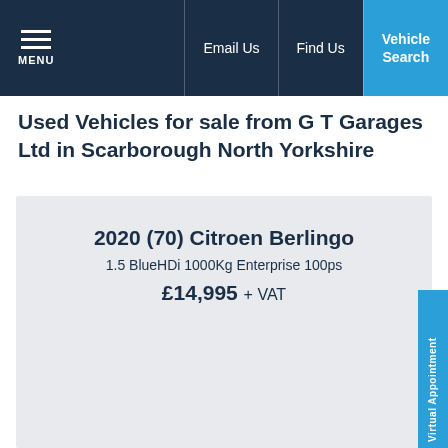MENU | Email Us | Find Us | Vehicle Search
Used Vehicles for sale from G T Garages Ltd in Scarborough North Yorkshire
2020 (70) Citroen Berlingo
1.5 BlueHDi 1000Kg Enterprise 100ps
£14,995 + VAT